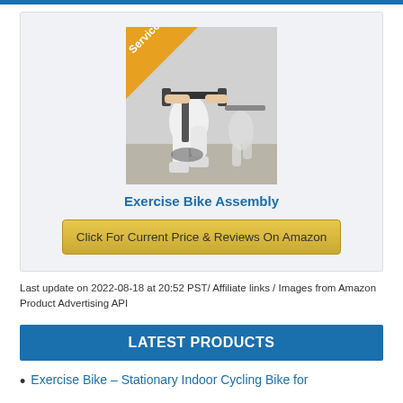[Figure (photo): Exercise bike / indoor cycling photo with a 'Service' badge in the top-left corner]
Exercise Bike Assembly
Click For Current Price & Reviews On Amazon
Last update on 2022-08-18 at 20:52 PST/ Affiliate links / Images from Amazon Product Advertising API
LATEST PRODUCTS
Exercise Bike – Stationary Indoor Cycling Bike for